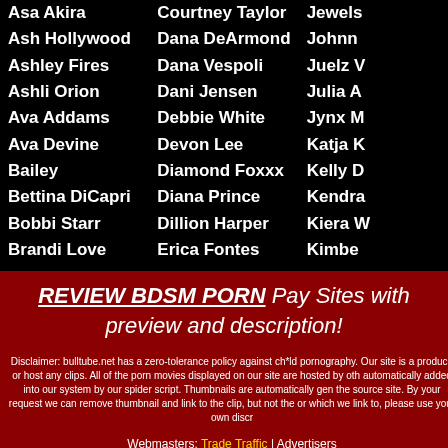Asa Akira
Ash Hollywood
Ashley Fires
Ashli Orion
Ava Addams
Ava Devine
Bailey
Bettina DiCapri
Bobbi Starr
Brandi Love
Courtney Taylor
Dana DeArmond
Dana Vespoli
Dani Jensen
Debbie White
Devon Lee
Diamond Foxxx
Diana Prince
Dillion Harper
Erica Fontes
Jewels
Johnn
Juelz V
Julia A
Jynx M
Katja K
Kelly D
Kendra
Kiera W
Kimbe
REVIEW BDSM PORN Pay Sites with preview and description!
Disclaimer: bulltube.net has a zero-tolerance policy against ch*ld pornography. Our site is a... produce or host any clips. All of the porn movies displayed on our site are hosted by oth... automatically added into our system by our spider script. Thumbnails are automatically gen... the source site. By your request we can remove thumbnail and link to the clip, but not the or... which we link to, please use your own discr...
Webmasters: Trade Traffic | Advertisers
Bizarre Porn Tube, Bizarre Porn Videos Copyright © 2013-2022, www.bulltube.n